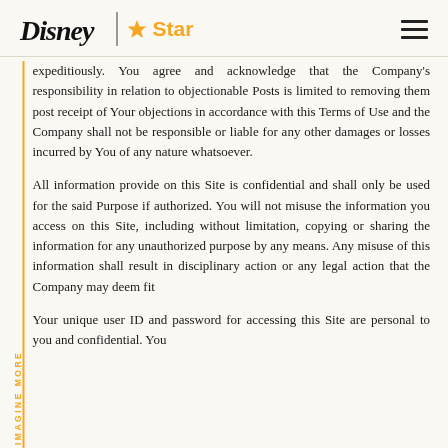Disney | Star [logo] [hamburger menu]
expeditiously. You agree and acknowledge that the Company's responsibility in relation to objectionable Posts is limited to removing them post receipt of Your objections in accordance with this Terms of Use and the Company shall not be responsible or liable for any other damages or losses incurred by You of any nature whatsoever.
All information provide on this Site is confidential and shall only be used for the said Purpose if authorized. You will not misuse the information you access on this Site, including without limitation, copying or sharing the information for any unauthorized purpose by any means. Any misuse of this information shall result in disciplinary action or any legal action that the Company may deem fit
Your unique user ID and password for accessing this Site are personal to you and confidential. You